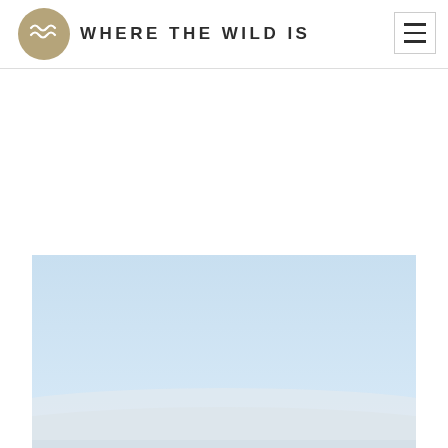WHERE THE WILD IS
[Figure (photo): Coastal landscape photograph showing a pale blue sky and white sand dunes or ocean waves at the bottom, minimal and serene composition]